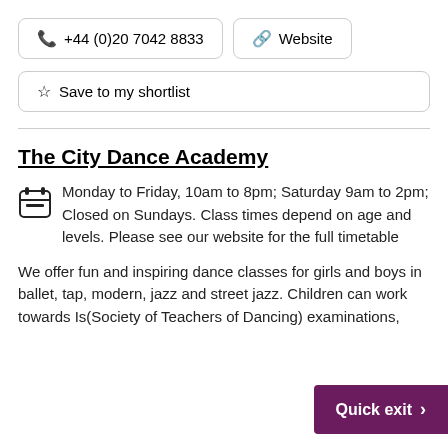📞 +44 (0)20 7042 8833
🔗 Website
☆ Save to my shortlist
The City Dance Academy
Monday to Friday, 10am to 8pm; Saturday 9am to 2pm; Closed on Sundays. Class times depend on age and levels. Please see our website for the full timetable
We offer fun and inspiring dance classes for girls and boys in ballet, tap, modern, jazz and street jazz. Children can work towards IS (Society of Teachers of Dancing) examinations,
Quick exit >